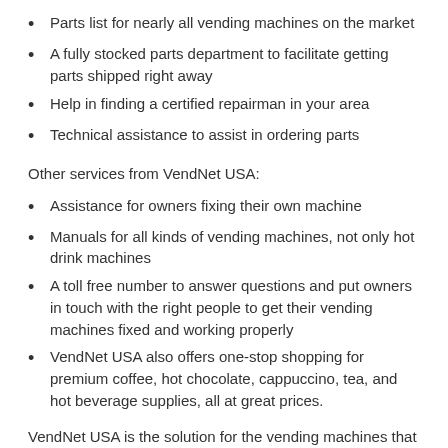Parts list for nearly all vending machines on the market
A fully stocked parts department to facilitate getting parts shipped right away
Help in finding a certified repairman in your area
Technical assistance to assist in ordering parts
Other services from VendNet USA:
Assistance for owners fixing their own machine
Manuals for all kinds of vending machines, not only hot drink machines
A toll free number to answer questions and put owners in touch with the right people to get their vending machines fixed and working properly
VendNet USA also offers one-stop shopping for premium coffee, hot chocolate, cappuccino, tea, and hot beverage supplies, all at great prices.
VendNet USA is the solution for the vending machines that